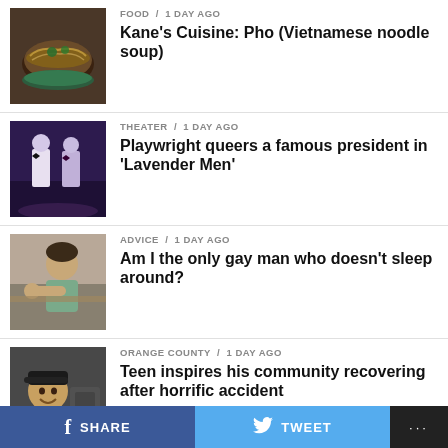[Figure (photo): Bowl of Vietnamese pho noodle soup with herbs and broth]
FOOD / 1 day ago
Kane's Cuisine: Pho (Vietnamese noodle soup)
[Figure (photo): Theater performers on stage, two men in formal wear]
THEATER / 1 day ago
Playwright queers a famous president in 'Lavender Men'
[Figure (photo): Man resting his head on his hand looking tired or troubled]
ADVICE / 1 day ago
Am I the only gay man who doesn't sleep around?
[Figure (photo): Smiling young man with a cap in an industrial setting]
ORANGE COUNTY / 1 day ago
Teen inspires his community recovering after horrific accident
ADVERTISEMENT
SHARE  TWEET  ...